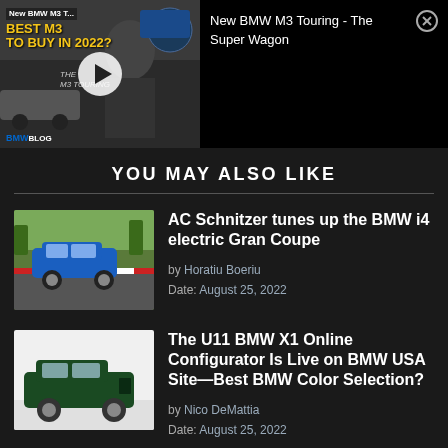[Figure (screenshot): Video thumbnail showing BMW M3 Touring with title 'New BMW M3 T...' and 'BEST M3 TO BUY IN 2022?' with play button, next to video title text 'New BMW M3 Touring - The Super Wagon' and close button]
YOU MAY ALSO LIKE
[Figure (photo): Blue BMW i4 Gran Coupe on a racetrack]
AC Schnitzer tunes up the BMW i4 electric Gran Coupe
by Horatiu Boeriu
Date: August 25, 2022
[Figure (photo): Dark green BMW X1 U11 on white background]
The U11 BMW X1 Online Configurator Is Live on BMW USA Site—Best BMW Color Selection?
by Nico DeMattia
Date: August 25, 2022